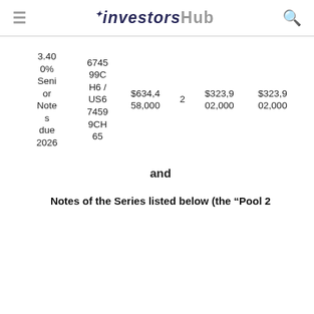investorshub
| 3.400%
Senior
Notes
due
2026 | 674599CH6 /
US67459
9CH65 | $634,458,000 | 2 | $323,902,000 | $323,902,000 |
and
Notes of the Series listed below (the “Pool 2